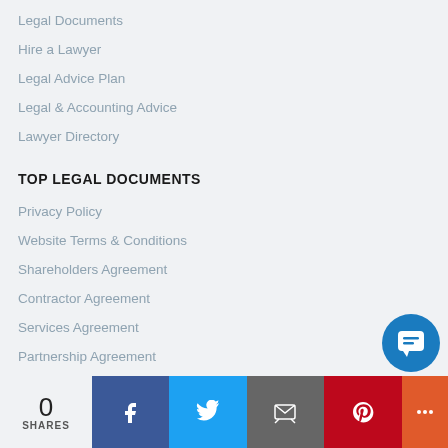Legal Documents
Hire a Lawyer
Legal Advice Plan
Legal & Accounting Advice
Lawyer Directory
TOP LEGAL DOCUMENTS
Privacy Policy
Website Terms & Conditions
Shareholders Agreement
Contractor Agreement
Services Agreement
Partnership Agreement
0 SHARES | Facebook | Twitter | Email | Pinterest | More